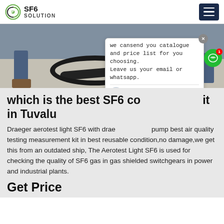SF6 SOLUTION
[Figure (photo): Photo showing legs/feet of a person and industrial hoses/cables on a concrete floor, with orange text 'ina' partially visible]
which is the best SF6 co... it in Tuvalu
Draeger aerotest light SF6 with drae... pump best air quality testing measurement kit in best reusable condition,no damage,we get this from an outdated ship, The Aerotest Light SF6 is used for checking the quality of SF6 gas in gas shielded switchgears in power and industrial plants.
Get Price